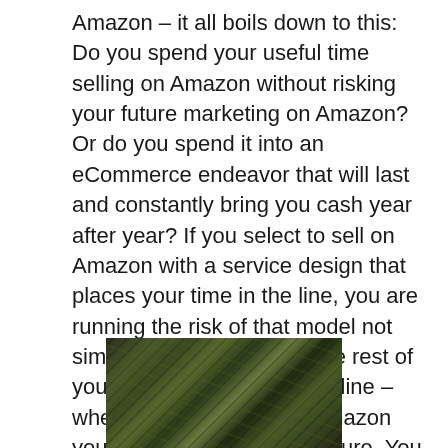Amazon – it all boils down to this: Do you spend your useful time selling on Amazon without risking your future marketing on Amazon? Or do you spend it into an eCommerce endeavor that will last and constantly bring you cash year after year? If you select to sell on Amazon with a service design that places your time in the line, you are running the risk of that model not simply today but also for the rest of your life. This is the bottom line – when you pick to sell on Amazon you are investing in your future. You don't want to be a one-hit marvel.
[Figure (photo): Close-up photo of a pineapple plant top, showing green spiky leaves with dark shadows and natural leaf texture.]